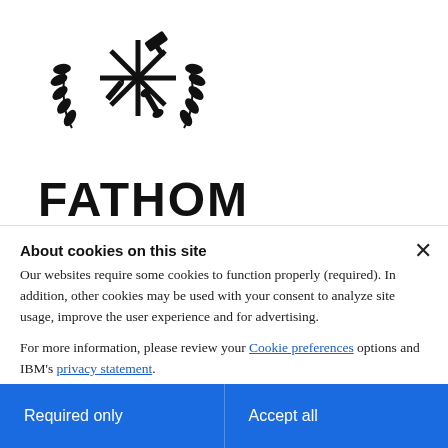[Figure (logo): Fathom logo mark: snowflake/asterisk symbol with a gavel, pen, and wrench, flanked by laurel branches, above the wordmark FATHOM in black bold uppercase letters]
FATHOM
FATHOM
FATHOM is hiring...
About cookies on this site
Our websites require some cookies to function properly (required). In addition, other cookies may be used with your consent to analyze site usage, improve the user experience and for advertising.

For more information, please review your Cookie preferences options and IBM's privacy statement.